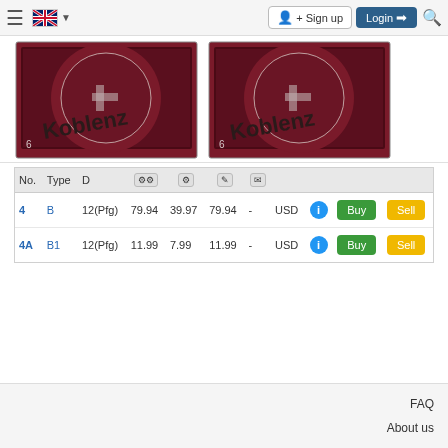≡  [UK flag] ▼   Sign up   Login →   🔍
[Figure (photo): Two postage stamps with dark red/maroon background, swastika emblem, and overprint text 'Koblenz' partially visible]
| No. | Type | D | ⚙⚙ | ⚙ | ✏ | ✉ |  |  |  |  |
| --- | --- | --- | --- | --- | --- | --- | --- | --- | --- | --- |
| 4 | B | 12(Pfg) | 79.94 | 39.97 | 79.94 | - | USD | ℹ | Buy | Sell |
| 4A | B1 | 12(Pfg) | 11.99 | 7.99 | 11.99 | - | USD | ℹ | Buy | Sell |
FAQ
About us